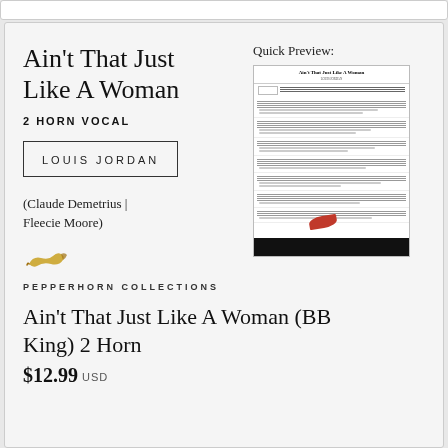Ain't That Just Like A Woman
2 HORN VOCAL
LOUIS JORDAN
(Claude Demetrius | Fleecie Moore)
[Figure (illustration): Pepperhorn logo — stylized golden chili pepper]
PEPPERHORN COLLECTIONS
Quick Preview:
[Figure (photo): Quick preview thumbnail of sheet music for 'Ain't That Just Like A Woman' showing musical notation with a red mark and a black bar at the bottom]
Ain't That Just Like A Woman (BB King) 2 Horn
$12.99 USD